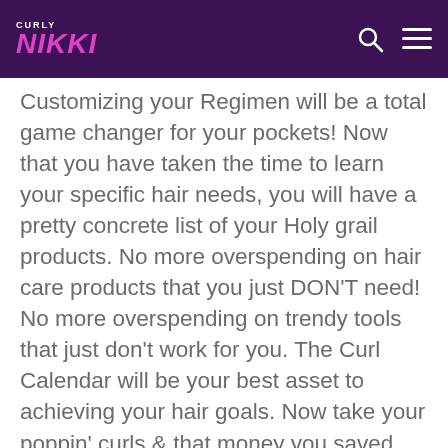CURLY NIKKI
Customizing your Regimen will be a total game changer for your pockets! Now that you have taken the time to learn your specific hair needs, you will have a pretty concrete list of your Holy grail products. No more overspending on hair care products that you just DON'T need! No more overspending on trendy tools that just don't work for you. The Curl Calendar will be your best asset to achieving your hair goals. Now take your poppin' curls & that money you saved and go on a bomb vacation sis!